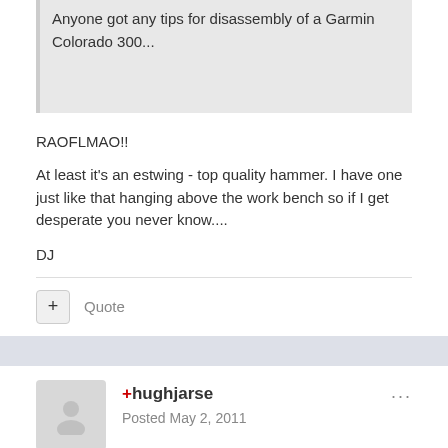Anyone got any tips for disassembly of a Garmin Colorado 300...
RAOFLMAO!!
At least it's an estwing - top quality hammer. I have one just like that hanging above the work bench so if I get desperate you never know....
DJ
Quote
+hughjarse
Posted May 2, 2011